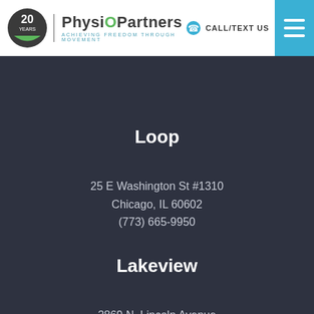[Figure (logo): PhysioPartners logo with 20 years anniversary badge and tagline 'Achieving Freedom Through Movement']
CALL/TEXT US
Loop
25 E Washington St #1310
Chicago, IL 60602
(773) 665-9950
Lakeview
2869 N. Lincoln Avenue
Chicago, IL 60657
(773) 665-9950
Glenview